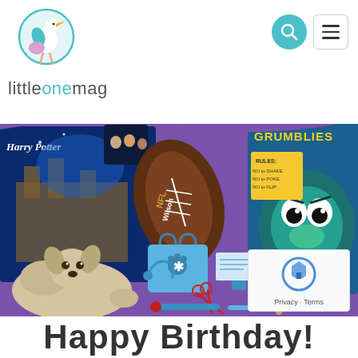littleonemag
[Figure (photo): Collage of children's toys including Harry Potter LEGO set, Wilson NFL football, Gumby/Grumblies monster toy, plush puppy stuffed animal, and a veterinarian/doctor play kit with blue medical accessories and tools, set against a purple wave background.]
Privacy - Terms
Happy Birthday!